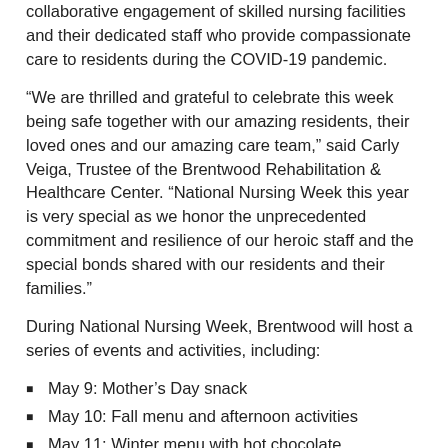collaborative engagement of skilled nursing facilities and their dedicated staff who provide compassionate care to residents during the COVID-19 pandemic.
“We are thrilled and grateful to celebrate this week being safe together with our amazing residents, their loved ones and our amazing care team,” said Carly Veiga, Trustee of the Brentwood Rehabilitation & Healthcare Center. “National Nursing Week this year is very special as we honor the unprecedented commitment and resilience of our heroic staff and the special bonds shared with our residents and their families.”
During National Nursing Week, Brentwood will host a series of events and activities, including:
May 9: Mother’s Day snack
May 10: Fall menu and afternoon activities
May 11: Winter menu with hot chocolate, gingerbread